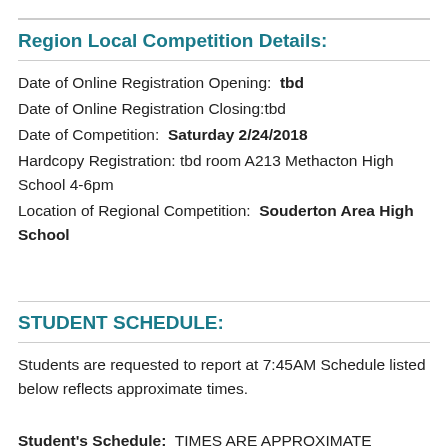Region Local Competition Details:
Date of Online Registration Opening: tbd
Date of Online Registration Closing:tbd
Date of Competition: Saturday 2/24/2018
Hardcopy Registration: tbd room A213 Methacton High School 4-6pm
Location of Regional Competition: Souderton Area High School
STUDENT SCHEDULE:
Students are requested to report at 7:45AM Schedule listed below reflects approximate times.
Student's Schedule: TIMES ARE APPROXIMATE